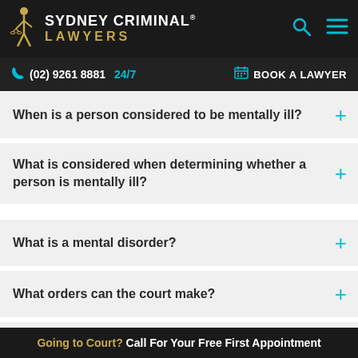Sydney Criminal Lawyers - (02) 9261 8881 24/7 - BOOK A LAWYER
When is a person considered to be mentally ill?
What is considered when determining whether a person is mentally ill?
What is a mental disorder?
What orders can the court make?
Who may be a ‘responsible person’?
Going to Court? Call For Your Free First Appointment